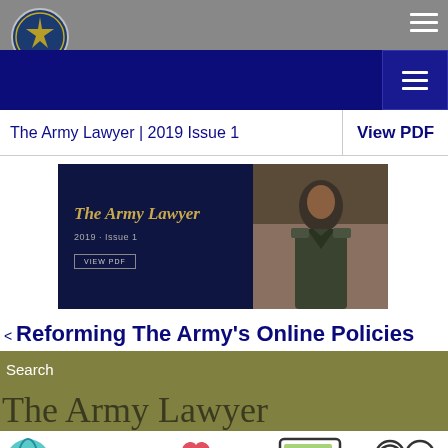The Army Lawyer | 2019 Issue 1
[Figure (screenshot): The Army Lawyer magazine cover for 2019 Issue 1, showing title text on dark navy background with a photo of a military officer in uniform on the right side, with a VIEW PDF button]
< Reforming The Army's Online Policies
Search
The Army Lawyer
[Figure (illustration): Social media and technology icons strip at bottom including a globe, LIKE text, heart icon, computer monitor, and headphone icons]